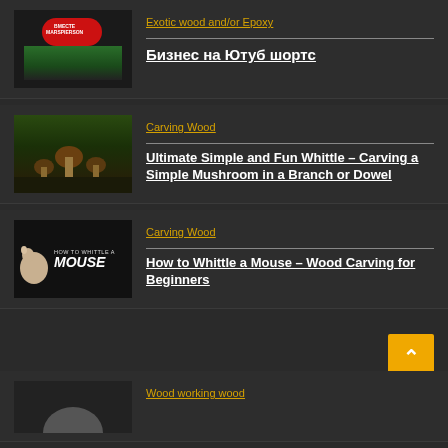[Figure (screenshot): Thumbnail of phone screen with red pill-shaped element and text BMECTE MARSPIERSON, with a sports field visible below]
Exotic wood and/or Epoxy
Бизнес на Ютуб шортс
[Figure (photo): Thumbnail of carved wooden mushrooms in a forest setting]
Carving Wood
Ultimate Simple and Fun Whittle - Carving a Simple Mushroom in a Branch or Dowel
[Figure (photo): Thumbnail showing HOW TO WHITTLE A MOUSE text over dark background with mouse carving and knife]
Carving Wood
How to Whittle a Mouse – Wood Carving for Beginners
[Figure (photo): Partial thumbnail of a person at bottom of page]
Wood working wood